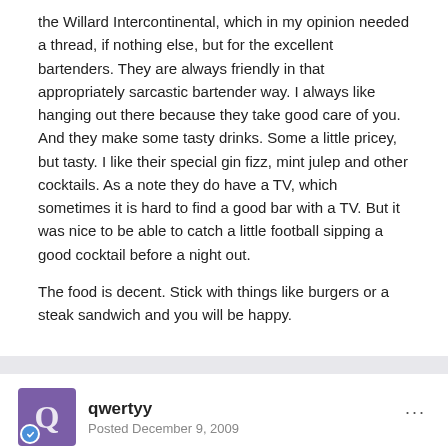the Willard Intercontinental, which in my opinion needed a thread, if nothing else, but for the excellent bartenders. They are always friendly in that appropriately sarcastic bartender way. I always like hanging out there because they take good care of you. And they make some tasty drinks. Some a little pricey, but tasty. I like their special gin fizz, mint julep and other cocktails. As a note they do have a TV, which sometimes it is hard to find a good bar with a TV. But it was nice to be able to catch a little football sipping a good cocktail before a night out.
The food is decent. Stick with things like burgers or a steak sandwich and you will be happy.
qwertyy — Posted December 9, 2009
On 12/9/2009 at 12:04 AM, ktmoomau said: I didn't see a thread during my search on the Round Robin